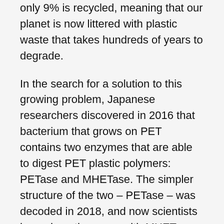only 9% is recycled, meaning that our planet is now littered with plastic waste that takes hundreds of years to degrade.
In the search for a solution to this growing problem, Japanese researchers discovered in 2016 that bacterium that grows on PET contains two enzymes that are able to digest PET plastic polymers: PETase and MHETase. The simpler structure of the two – PETase – was decoded in 2018, and now scientists have done the same with MHETase.
'MHETase is considerably larger than PETase and even more complex. A single MHETase molecule consists of 600 amino acids, or about 4,000 atoms,' explains Dr Gert Weber from the joint Protein Crystallography group at the Helmholtz–